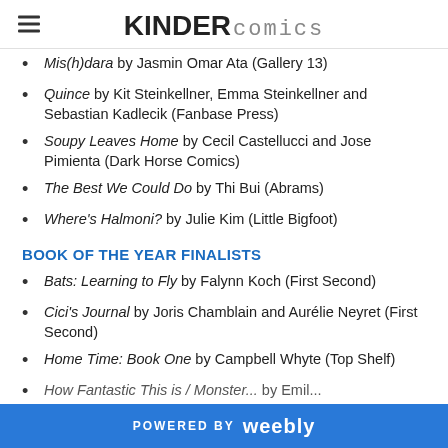KINDER COMICS
Mis(h)bdra by Jasmin Omar Ata (Gallery 13)
Quince by Kit Steinkellner, Emma Steinkellner and Sebastian Kadlecik (Fanbase Press)
Soupy Leaves Home by Cecil Castellucci and Jose Pimienta (Dark Horse Comics)
The Best We Could Do by Thi Bui (Abrams)
Where's Halmoni? by Julie Kim (Little Bigfoot)
BOOK OF THE YEAR FINALISTS
Bats: Learning to Fly by Falynn Koch (First Second)
Cici's Journal by Joris Chamblain and Aurélie Neyret (First Second)
Home Time: Book One by Campbell Whyte (Top Shelf)
...
POWERED BY weebly